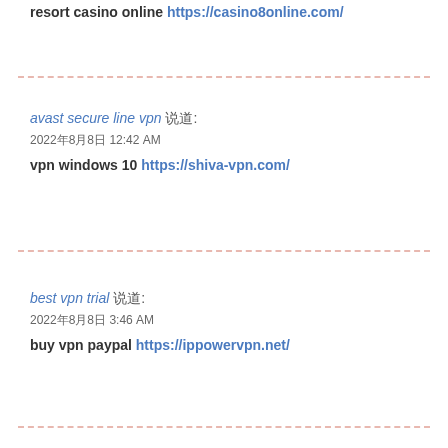resort casino online https://casino8online.com/
avast secure line vpn 说道:
2022年8月8日 12:42 AM
vpn windows 10 https://shiva-vpn.com/
best vpn trial 说道:
2022年8月8日 3:46 AM
buy vpn paypal https://ippowervpn.net/